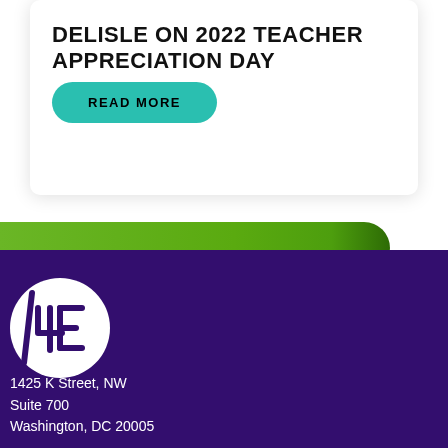DELISLE ON 2022 TEACHER APPRECIATION DAY
READ MORE
[Figure (logo): 4E organization logo — white circle with a stylized '4E' monogram in purple/dark purple]
1425 K Street, NW
Suite 700
Washington, DC 20005